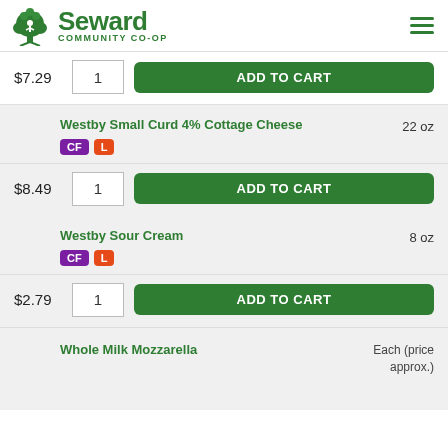[Figure (logo): Seward Community Co-op logo with green tree icon and hamburger menu icon]
$7.29 | 1 | ADD TO CART
Westby Small Curd 4% Cottage Cheese — 22 oz — CF, L
$8.49 | 1 | ADD TO CART
Westby Sour Cream — 8 oz — CF, L
$2.79 | 1 | ADD TO CART
Whole Milk Mozzarella — Each (price approx.)